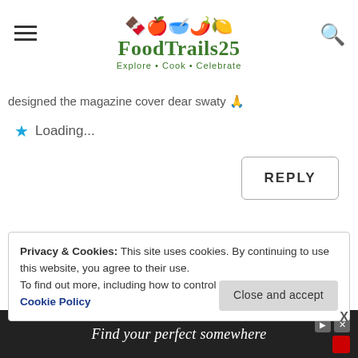FoodTrails25 — Explore · Cook · Celebrate
designed the magazine cover dear swaty
Loading...
REPLY
Privacy & Cookies: This site uses cookies. By continuing to use this website, you agree to their use. To find out more, including how to control cookies, see here: Cookie Policy  Close and accept
beautiful. Nimona is my most favourite
[Figure (screenshot): Advertisement banner: 'Find your perfect somewhere' on dark background with travel imagery]